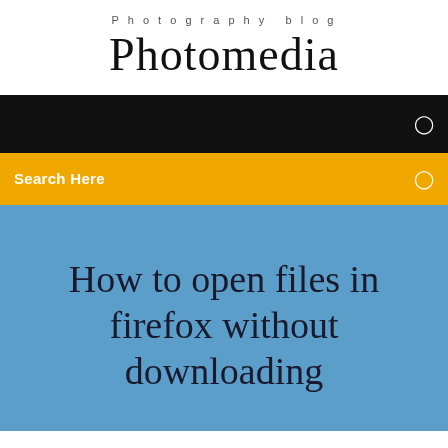Photography blog
Photomedia
[Figure (screenshot): Black navigation bar with a small white icon on the right]
Search Here
How to open files in firefox without downloading